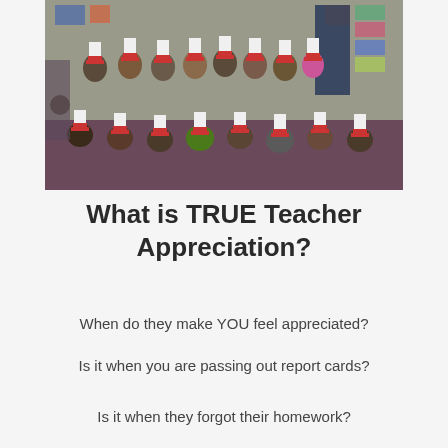[Figure (photo): Group photo of elementary school children wearing Dr. Seuss Cat in the Hat style paper hats, posed in a classroom setting. Children are arranged in rows, some sitting on the floor and others standing behind them. Colorful classroom decorations visible in the background.]
What is TRUE Teacher Appreciation?
When do they make YOU feel appreciated?
Is it when you are passing out report cards?
Is it when they forgot their homework?